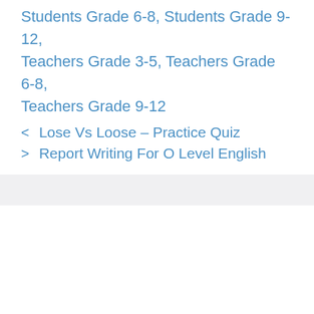Students Grade 6-8, Students Grade 9-12, Teachers Grade 3-5, Teachers Grade 6-8, Teachers Grade 9-12
< Lose Vs Loose – Practice Quiz
> Report Writing For O Level English
Subscribe ▾
Be the First to Comment!